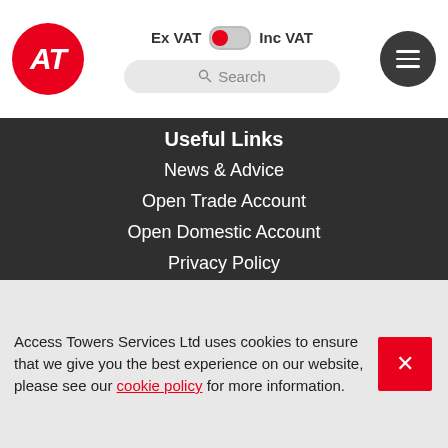[Figure (logo): AT logo: red circle with white italic AT letters]
Ex VAT  Inc VAT
Search
[Figure (other): Hamburger menu button, dark circle with three white lines]
Useful Links
News & Advice
Open Trade Account
Open Domestic Account
Privacy Policy
Delivery Policy
Returns & Refunds Policy
Cancellation Policy
Terms of Hire
Access Towers Services Ltd uses cookies to ensure that we give you the best experience on our website, please see our cookie policy for more information.